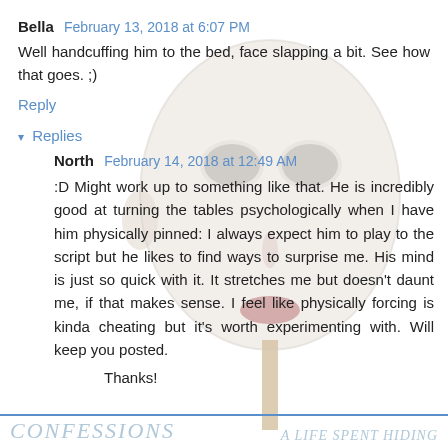Bella  February 13, 2018 at 6:07 PM
Well handcuffing him to the bed, face slapping a bit. See how that goes. ;)
Reply
▾ Replies
North  February 14, 2018 at 12:49 AM
:D Might work up to something like that. He is incredibly good at turning the tables psychologically when I have him physically pinned: I always expect him to play to the script but he likes to find ways to surprise me. His mind is just so quick with it. It stretches me but doesn't daunt me, if that makes sense. I feel like physically forcing is kinda cheating but it's worth experimenting with. Will keep you posted.
Thanks!
CONFESSIONS   A LIFE SPENT HIDING